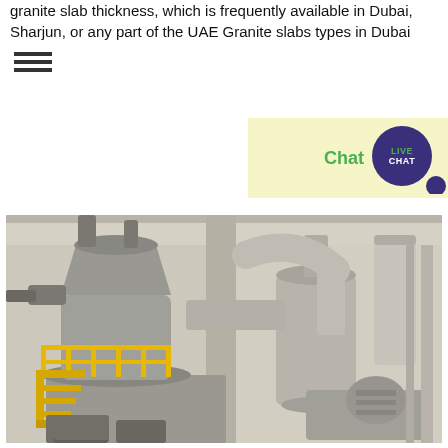granite slab thickness, which is frequently available in Dubai, Sharjun, or any part of the UAE Granite slabs types in Dubai
[Figure (other): Live chat widget with green 'Chat' text and dark purple speech bubble with 'LIVE CHAT' text, on a pale yellow background]
[Figure (photo): Industrial factory interior showing large grinding mill equipment with yellow safety railings and staircases, large white pipes and ducting, industrial machinery on concrete floor]